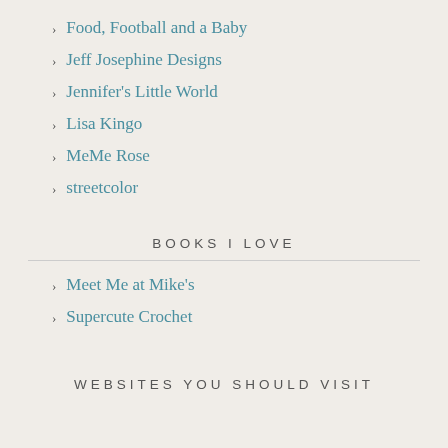Food, Football and a Baby
Jeff Josephine Designs
Jennifer's Little World
Lisa Kingo
MeMe Rose
streetcolor
BOOKS I LOVE
Meet Me at Mike's
Supercute Crochet
WEBSITES YOU SHOULD VISIT